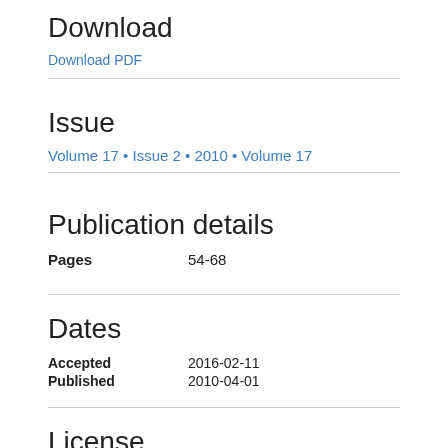Download
Download PDF
Issue
Volume 17 • Issue 2 • 2010 • Volume 17
Publication details
Pages    54-68
Dates
Accepted    2016-02-11
Published    2010-04-01
License